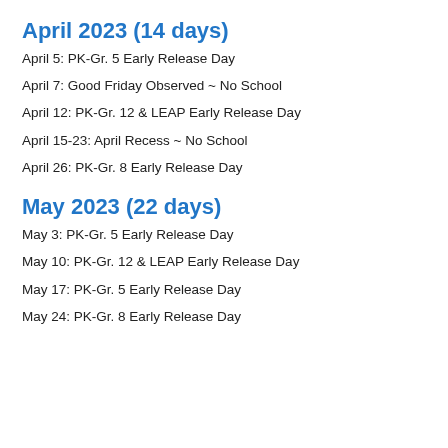April 2023 (14 days)
April 5:  PK-Gr. 5 Early Release Day
April 7:  Good Friday Observed ~ No School
April 12:  PK-Gr. 12 & LEAP Early Release Day
April 15-23:  April Recess ~ No School
April 26:  PK-Gr. 8 Early Release Day
May 2023 (22 days)
May 3:  PK-Gr. 5 Early Release Day
May 10:  PK-Gr. 12 & LEAP Early Release Day
May 17:  PK-Gr. 5 Early Release Day
May 24:  PK-Gr. 8 Early Release Day